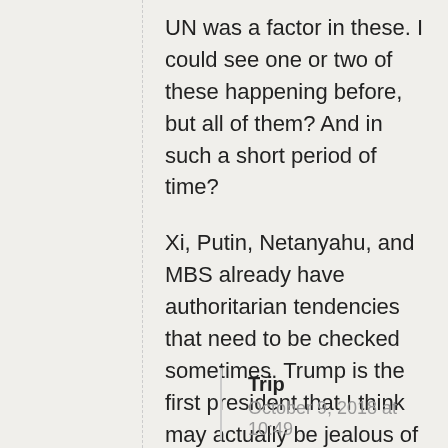UN was a factor in these. I could see one or two of these happening before, but all of them? And in such a short period of time?
Xi, Putin, Netanyahu, and MBS already have authoritarian tendencies that need to be checked sometimes. Trump is the first president that I think may actually be jealous of them.
Trip
October 9, 2018 at 10:49